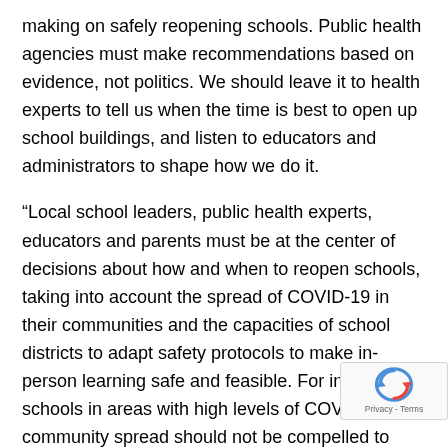making on safely reopening schools. Public health agencies must make recommendations based on evidence, not politics. We should leave it to health experts to tell us when the time is best to open up school buildings, and listen to educators and administrators to shape how we do it.
“Local school leaders, public health experts, educators and parents must be at the center of decisions about how and when to reopen schools, taking into account the spread of COVID-19 in their communities and the capacities of school districts to adapt safety protocols to make in-person learning safe and feasible. For instance, schools in areas with high levels of COVID-19 community spread should not be compelled to reopen against the judgment of local experts. A one-size- approach is not appropriate for return to school deci...
[Figure (other): reCAPTCHA badge with circular arrow icon and Privacy - Terms text]